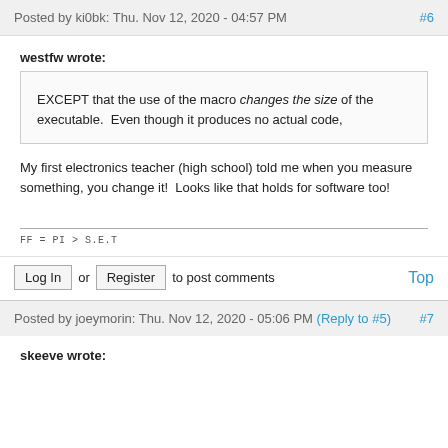Posted by ki0bk: Thu. Nov 12, 2020 - 04:57 PM   #6
westfw wrote:
EXCEPT that the use of the macro changes the size of the executable.  Even though it produces no actual code,
My first electronics teacher (high school) told me when you measure something, you change it!  Looks like that holds for software too!
FF = PI > S.E.T
Log In or Register to post comments   Top
Posted by joeymorin: Thu. Nov 12, 2020 - 05:06 PM (Reply to #5)   #7
skeeve wrote: